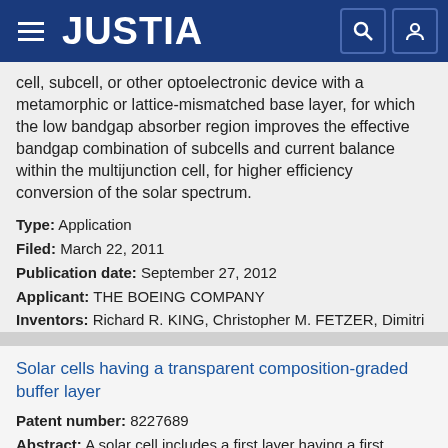JUSTIA
cell, subcell, or other optoelectronic device with a metamorphic or lattice-mismatched base layer, for which the low bandgap absorber region improves the effective bandgap combination of subcells and current balance within the multijunction cell, for higher efficiency conversion of the solar spectrum.
Type: Application
Filed: March 22, 2011
Publication date: September 27, 2012
Applicant: THE BOEING COMPANY
Inventors: Richard R. KING, Christopher M. FETZER, Dimitri D. KRUT, Nasser H. KARAM
Solar cells having a transparent composition-graded buffer layer
Patent number: 8227689
Abstract: A solar cell includes a first layer having a first